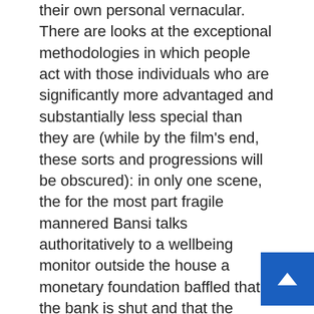their own personal vernacular. There are looks at the exceptional methodologies in which people act with those individuals who are significantly more advantaged and substantially less special than they are (while by the film’s end, these sorts and progressions will be obscured): in only one scene, the for the most part fragile mannered Bansi talks authoritatively to a wellbeing monitor outside the house a monetary foundation baffled that the bank is shut and that the watchman doesn’t remember him, he mumbles “Simpleton!” as he leaves. The high level appearing Birbal snarls “Side ho jaao na!” to two grown-up guys who are getting a selfie on his bike’s course.
There are a small bunch of bumping factors to these kinds of as an intermittent underlining of data and the reiteration of proclamations, first in